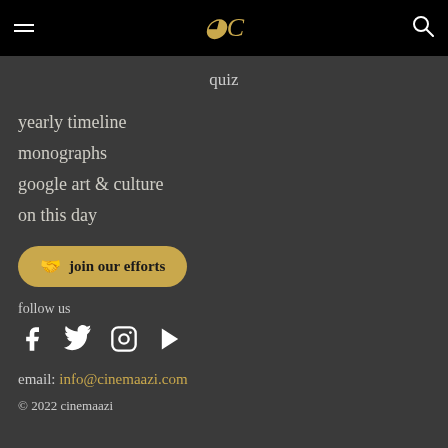Navigation bar with hamburger menu, Cinemaazi logo, and search icon
quiz
yearly timeline
monographs
google art & culture
on this day
join our efforts
follow us
[Figure (infographic): Social media icons: Facebook, Twitter, Instagram, YouTube]
email: info@cinemaazi.com
© 2022 cinemaazi